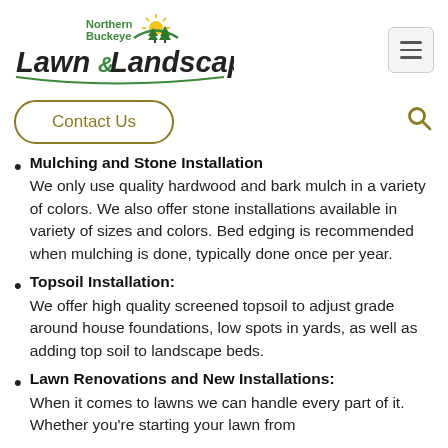[Figure (logo): Northern Buckeye Lawn & Landscape logo with sun and pine trees graphic]
Contact Us
Mulching and Stone Installation
We only use quality hardwood and bark mulch in a variety of colors.  We also offer stone installations available in variety of sizes and colors.  Bed edging is recommended when mulching is done, typically done once per year.
Topsoil Installation:
We offer high quality screened topsoil to adjust grade around house foundations, low spots in yards, as well as adding top soil to landscape beds.
Lawn Renovations and New Installations:
When it comes to lawns we can handle every part of it.  Whether you're starting your lawn from